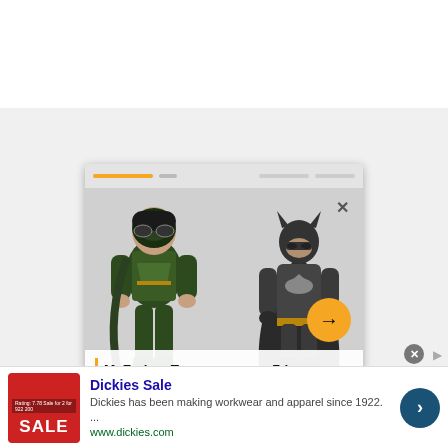[Figure (screenshot): Top navigation/header bar area of a webpage, white background with gray bottom border]
[Figure (screenshot): Popup card showing two action figures (a green-armored character and Batman) from McFarlane Toys, with orange progress bar at top, close X button, orange arrow navigation button, and title bar reading 'McFarlaneToysannounces7-in...']
[Figure (infographic): Advertisement for Dickies Sale featuring red sale badge image, bold blue title 'Dickies Sale', body text 'Dickies has been making workwear and apparel since 1922.', '...', green URL 'www.dickies.com', and a dark blue arrow button on the right]